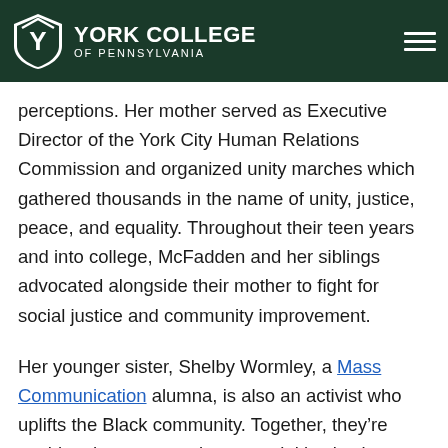York College of Pennsylvania
perceptions. Her mother served as Executive Director of the York City Human Relations Commission and organized unity marches which gathered thousands in the name of unity, justice, peace, and equality. Throughout their teen years and into college, McFadden and her siblings advocated alongside their mother to fight for social justice and community improvement.
Her younger sister, Shelby Wormley, a Mass Communication alumna, is also an activist who uplifts the Black community. Together, they’re pushing the conversation on racial justice in Central Pennsylvania and beyond.